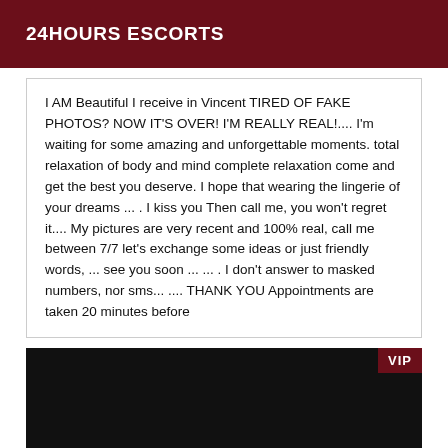24HOURS ESCORTS
I AM Beautiful I receive in Vincent TIRED OF FAKE PHOTOS? NOW IT'S OVER! I'M REALLY REAL!.... I'm waiting for some amazing and unforgettable moments. total relaxation of body and mind complete relaxation come and get the best you deserve. I hope that wearing the lingerie of your dreams ... . I kiss you Then call me, you won't regret it.... My pictures are very recent and 100% real, call me between 7/7 let's exchange some ideas or just friendly words, ... see you soon ... ... . I don't answer to masked numbers, nor sms... .... THANK YOU Appointments are taken 20 minutes before
[Figure (photo): Dark/black image area with a VIP badge in the top right corner and a colorful strip visible at the very bottom edge.]